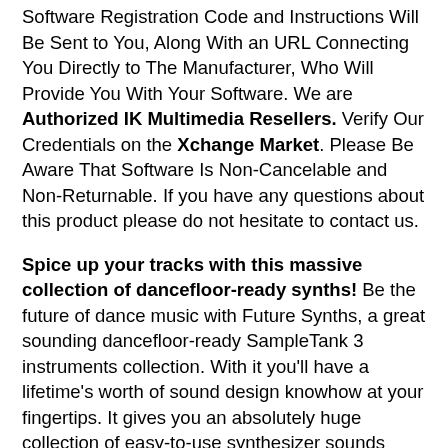Software Registration Code and Instructions Will Be Sent to You, Along With an URL Connecting You Directly to The Manufacturer, Who Will Provide You With Your Software. We are Authorized IK Multimedia Resellers. Verify Our Credentials on the Xchange Market. Please Be Aware That Software Is Non-Cancelable and Non-Returnable. If you have any questions about this product please do not hesitate to contact us.
Spice up your tracks with this massive collection of dancefloor-ready synths! Be the future of dance music with Future Synths, a great sounding dancefloor-ready SampleTank 3 instruments collection. With it you'll have a lifetime's worth of sound design knowhow at your fingertips. It gives you an absolutely huge collection of easy-to-use synthesizer sounds that'll cut through any mix right out of the box — no tweaking required! You get 150 instruments, 150 MIDI patterns and 4 multis that all combine to create a sonically powerful toolkit that has everything you need to create hard-hitting, hands-in-the-air dancefloor anthems in every electronic dance music genre from stadium EDM to